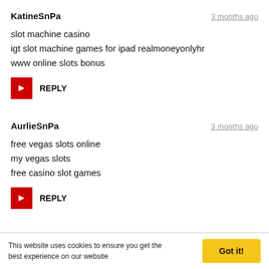KatineSnPa
3 months ago
slot machine casino
igt slot machine games for ipad realmoneyonlyhr
www online slots bonus
REPLY
AurlieSnPa
3 months ago
free vegas slots online
my vegas slots
free casino slot games
REPLY
This website uses cookies to ensure you get the best experience on our website
Got it!